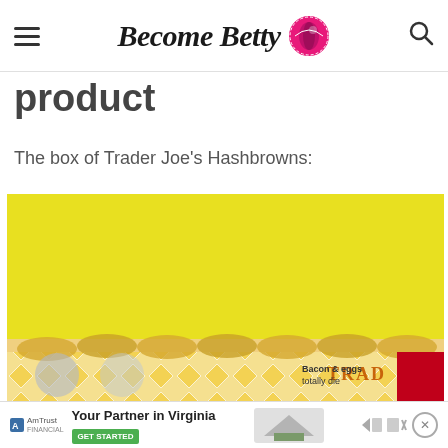Become Betty
product
The box of Trader Joe's Hashbrowns:
[Figure (photo): Photo of a box of Trader Joe's Hashbrowns against a yellow background, with hashbrown patties visible along the bottom edge of the box. The box has a yellow diamond pattern and shows text 'TRAD...' and 'Bacon & eggs totally die...']
AmTrust — Your Partner in Virginia — GET STARTED